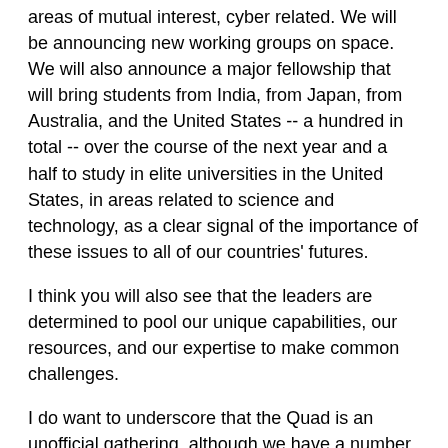areas of mutual interest, cyber related. We will be announcing new working groups on space. We will also announce a major fellowship that will bring students from India, from Japan, from Australia, and the United States -- a hundred in total -- over the course of the next year and a half to study in elite universities in the United States, in areas related to science and technology, as a clear signal of the importance of these issues to all of our countries' futures.
I think you will also see that the leaders are determined to pool our unique capabilities, our resources, and our expertise to make common challenges.
I do want to underscore that the Quad is an unofficial gathering, although we have a number of working groups and we are deepening cooperation on a very daily basis. It is also the case that it is not a regional security organization. We are going to address particular issues associated with the challenges confronting the Indo-Pacific in the current environment. And I think that's what the leaders want to focus on tomorrow.